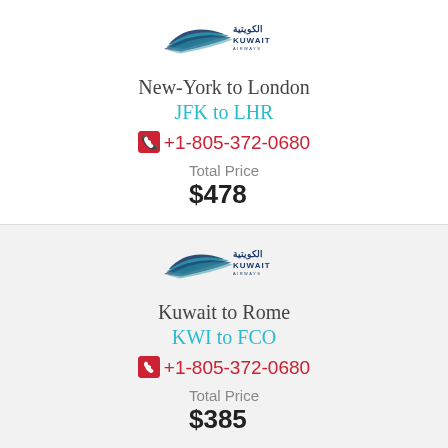[Figure (logo): Kuwait Airways logo with Arabic text and bird/wing graphic]
New-York to London
JFK to LHR
+1-805-372-0680
Total Price
$478
[Figure (logo): Kuwait Airways logo with Arabic text and bird/wing graphic]
Kuwait to Rome
KWI to FCO
+1-805-372-0680
Total Price
$385